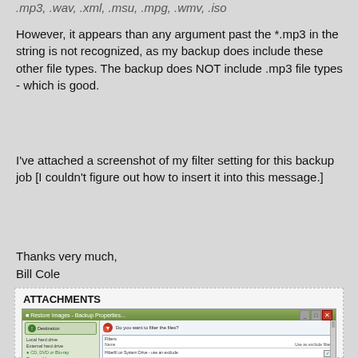.mp3, .wav, .xml, .msu, .mpg, .wmv, .iso
However, it appears than any argument past the *.mp3 in the string is not recognized, as my backup does include these other file types. The backup does NOT include .mp3 file types - which is good.
I've attached a screenshot of my filter setting for this backup job [I couldn't figure out how to insert it into this message.]
Thanks very much,
Bill Cole
ATTACHMENTS
[Figure (screenshot): Screenshot of a backup software window titled 'Restore Images - Backup Properties' showing a dialog asking 'Do you want to filter the files?' with a Filters panel listing filter rows including 'Hibreft on System Drive - use an exclude', 'Pagefire on System Drive - use an exclude', 'Temporary Files + 100 kt exclude', each with checkboxes checked under 'Use as exclude filter' column. Left panel shows destination options: Local hard drive, External hard drive, CD, DVD or Blu-ray, Removable.]